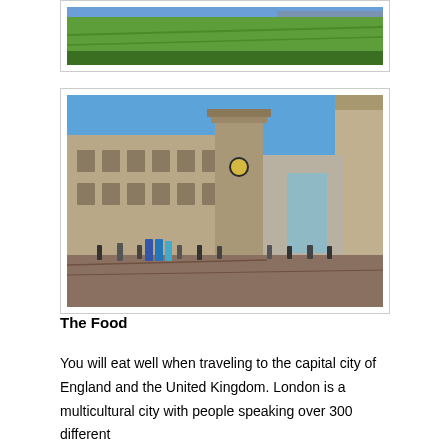[Figure (photo): Partial view of a green grassy area with what appears to be a moat or earthworks, cropped at the top of the page.]
[Figure (photo): Photo of the Tower of London courtyard with stone castle buildings, towers including a round tower with a clock, visitors walking on a brick/stone plaza, and a clear blue sky.]
The Food
You will eat well when traveling to the capital city of England and the United Kingdom. London is a multicultural city with people speaking over 300 different